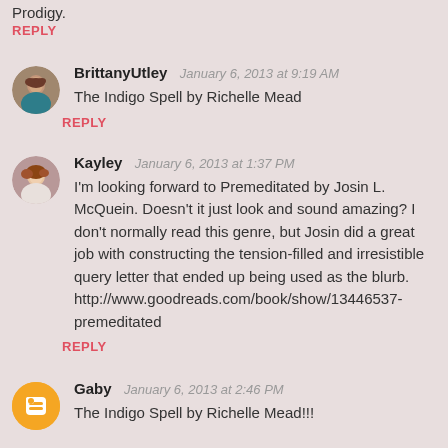Prodigy.
REPLY
BrittanyUtley  January 6, 2013 at 9:19 AM
The Indigo Spell by Richelle Mead
REPLY
Kayley  January 6, 2013 at 1:37 PM
I'm looking forward to Premeditated by Josin L. McQuein. Doesn't it just look and sound amazing? I don't normally read this genre, but Josin did a great job with constructing the tension-filled and irresistible query letter that ended up being used as the blurb. http://www.goodreads.com/book/show/13446537-premeditated
REPLY
Gaby  January 6, 2013 at 2:46 PM
The Indigo Spell by Richelle Mead!!!